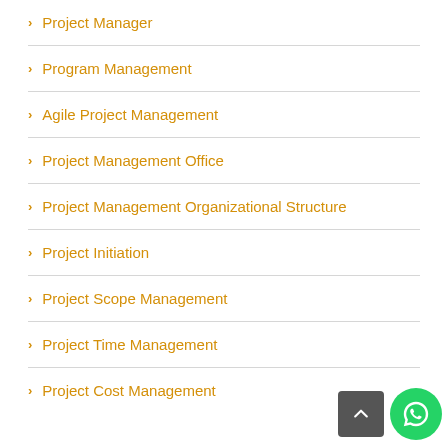> Project Manager
> Program Management
> Agile Project Management
> Project Management Office
> Project Management Organizational Structure
> Project Initiation
> Project Scope Management
> Project Time Management
> Project Cost Management